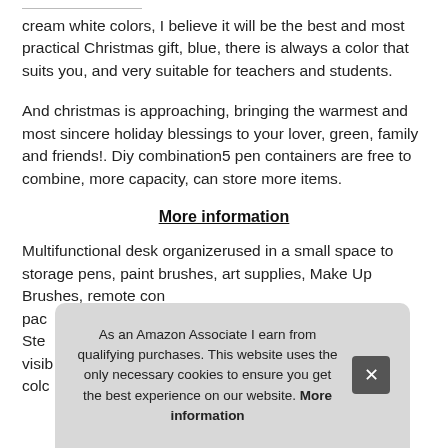cream white colors, I believe it will be the best and most practical Christmas gift, blue, there is always a color that suits you, and very suitable for teachers and students.
And christmas is approaching, bringing the warmest and most sincere holiday blessings to your lover, green, family and friends!. Diy combination5 pen containers are free to combine, more capacity, can store more items.
More information
Multifunctional desk organizerused in a small space to storage pens, paint brushes, art supplies, Make Up Brushes, remote con... pac... Ste... visib... colc...
As an Amazon Associate I earn from qualifying purchases. This website uses the only necessary cookies to ensure you get the best experience on our website. More information